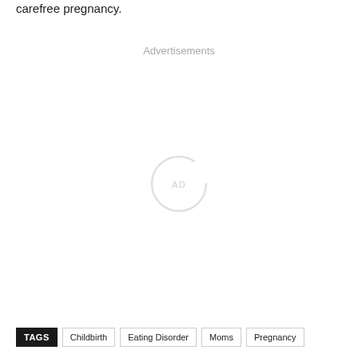carefree pregnancy.
Advertisements
[Figure (other): Advertisement loading spinner — a thin light-gray circular arc with 'AD' text in the center, indicating an advertisement area loading.]
TAGS  Childbirth  Eating Disorder  Moms  Pregnancy